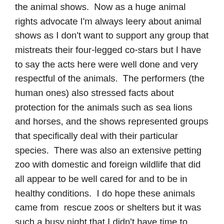the animal shows.  Now as a huge animal rights advocate I'm always leery about animal shows as I don't want to support any group that mistreats their four-legged co-stars but I have to say the acts here were well done and very respectful of the animals.  The performers (the human ones) also stressed facts about protection for the animals such as sea lions and horses, and the shows represented groups that specifically deal with their particular species.  There was also an extensive petting zoo with domestic and foreign wildlife that did all appear to be well cared for and to be in healthy conditions.  I do hope these animals came from  rescue zoos or shelters but it was such a busy night that I didn't have time to inquire.  The attendants did seem to be caring and attentive to their penned “co-workers”.